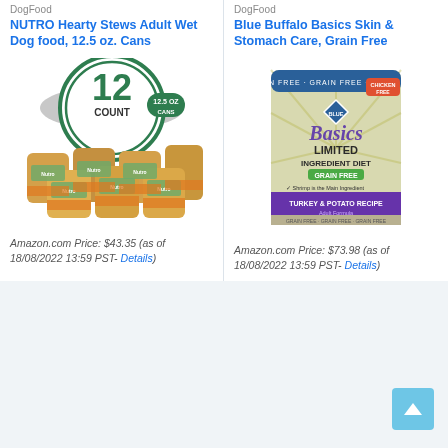DogFood
NUTRO Hearty Stews Adult Wet Dog food, 12.5 oz. Cans
[Figure (photo): 12-count cans of NUTRO Hearty Stews Adult Wet Dog Food, 12.5 oz cans, shown with a circular badge indicating 12 count and 12.5 oz cans]
Amazon.com Price: $43.35 (as of 18/08/2022 13:59 PST- Details)
DogFood
Blue Buffalo Basics Skin & Stomach Care, Grain Free
[Figure (photo): Blue Buffalo Basics Limited Ingredient Diet Grain Free Turkey & Potato Recipe dry dog food bag, adult dog, with chicken free badge]
Amazon.com Price: $73.98 (as of 18/08/2022 13:59 PST- Details)